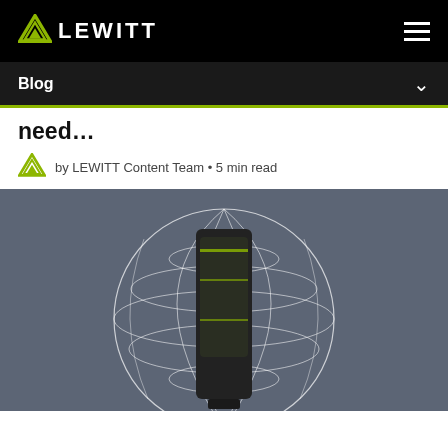LEWITT — Blog navigation
Blog
need…
by LEWITT Content Team • 5 min read
[Figure (illustration): 3D render of a microphone inside a wireframe sphere on a grey background]